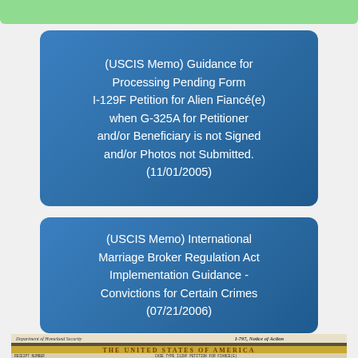[Figure (other): Green banner bar at top of page]
(USCIS Memo) Guidance for Processing Pending Form I-129F Petition for Alien Fiancé(e) when G-325A for Petitioner and/or Beneficiary is not Signed and/or Photos not Submitted. (11/01/2005)
(USCIS Memo) International Marriage Broker Regulation Act Implementation Guidance - Convictions for Certain Crimes (07/21/2006)
[Figure (photo): Partial image of a Department of Homeland Security / U.S. Citizenship and Immigration Services Form I-797 Notice of Action showing 'THE UNITED STATES OF AMERICA' banner and receipt number / case type fields for I129F Petition for Fiance(E)]